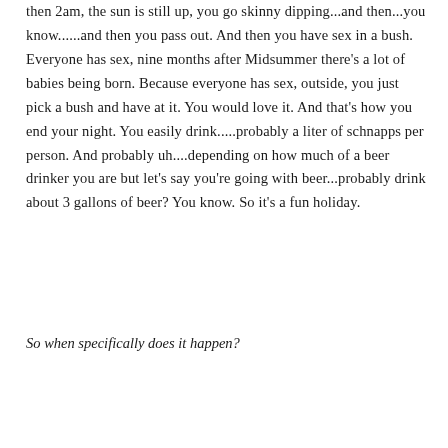then 2am, the sun is still up, you go skinny dipping...and then...you know......and then you pass out. And then you have sex in a bush. Everyone has sex, nine months after Midsummer there's a lot of babies being born. Because everyone has sex, outside, you just pick a bush and have at it. You would love it. And that's how you end your night. You easily drink.....probably a liter of schnapps per person. And probably uh....depending on how much of a beer drinker you are but let's say you're going with beer...probably drink about 3 gallons of beer? You know. So it's a fun holiday.
So when specifically does it happen?